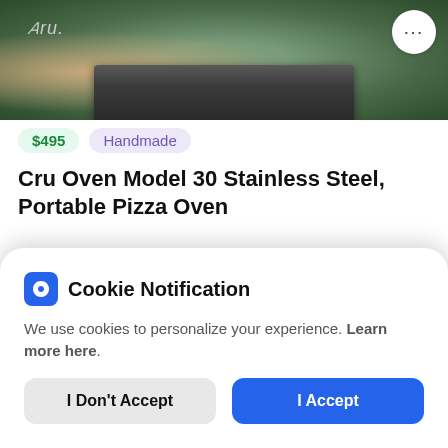[Figure (photo): Product listing image showing Cru Oven Model 30 stainless steel pizza oven on a green background, with three-dot menu button in top right corner]
$495  Handmade
Cru Oven Model 30 Stainless Steel, Portable Pizza Oven
2 months ago by Amy
[Figure (photo): Second product image showing outdoor pizza oven on terracotta/brick background with garden plants, with dot navigation indicators]
Cookie Notification
We use cookies to personalize your experience. Learn more here.
I Don't Accept  I Accept